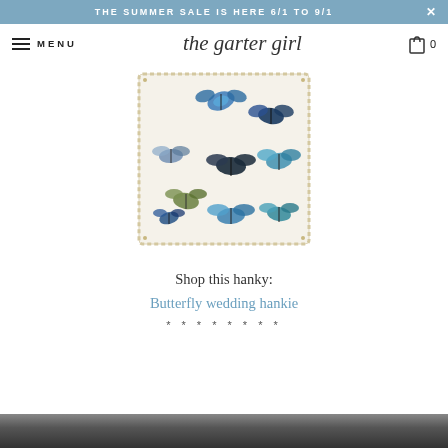THE SUMMER SALE IS HERE 6/1 TO 9/1
MENU — the garter girl — 0
[Figure (photo): A white handkerchief with decorative lace edge featuring multiple blue, teal, and green butterfly prints scattered across the fabric, folded into a square shape.]
Shop this hanky:
Butterfly wedding hankie
* * * * * * * *
[Figure (photo): Partial dark bottom image strip, content cut off]